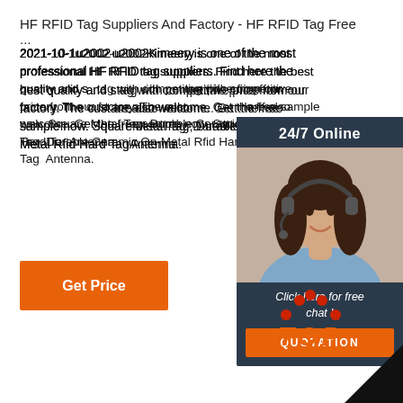HF RFID Tag Suppliers And Factory - HF RFID Tag Free ...
2021-10-1u2002·u2002Kimeery is one of the most professional HF RFID tag suppliers. Find here the best quality and suitable tag with competitive price from our factory. The custom are also welcome. Get the free sample now. Square Metal Tag, Durable Ceramic On-Metal Rfid Hard Tag Antenna.
[Figure (infographic): Chat widget with '24/7 Online' header, woman with headset photo, 'Click here for free chat!' text and orange QUOTATION button on dark navy background]
Get Price
[Figure (logo): TOP logo with red/orange dots arranged in arch shape above bold italic orange TOP text]